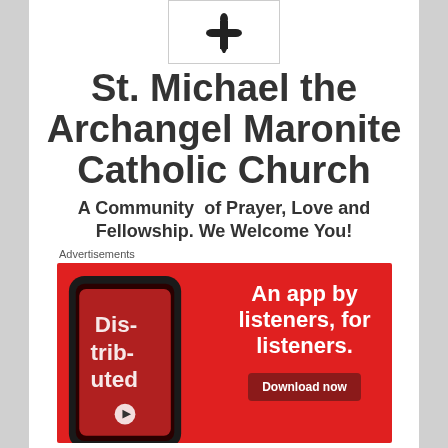[Figure (logo): Cross/fleur-de-lis religious symbol in black on white background]
St. Michael the Archangel Maronite Catholic Church
A Community of Prayer, Love and Fellowship. We Welcome You!
Advertisements
[Figure (photo): Advertisement banner with red background showing a smartphone with 'Distributed' podcast app. Text reads: An app by listeners, for listeners. Download now.]